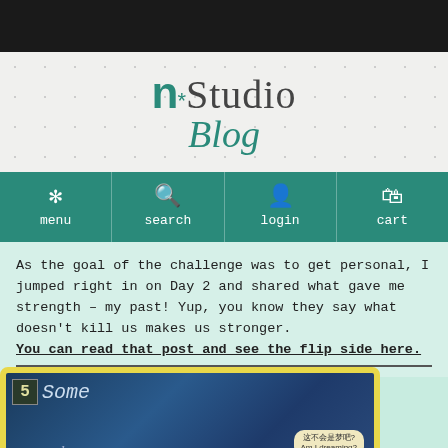[Figure (logo): n*Studio Blog logo on light speckled background]
[Figure (other): Navigation bar with menu, search, login, cart icons on teal background]
As the goal of the challenge was to get personal, I jumped right in on Day 2 and shared what gave me strength – my past! Yup, you know they say what doesn't kill us makes us stronger. You can read that post and see the flip side here.
[Figure (photo): Artwork piece with yellow border showing number 5 and text 'Some' and Asian characters with 'Am I dreaming?' text in a bubble]